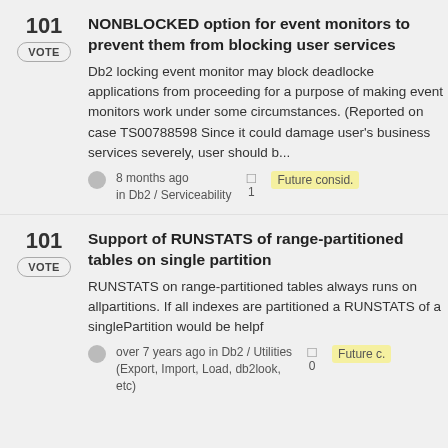NONBLOCKED option for event monitors to prevent them from blocking user services
Db2 locking event monitor may block deadlocked applications from proceeding for a purpose of making event monitors work under some circumstances. (Reported on case TS007885985) Since it could damage user's business services severely, user should b...
8 months ago in Db2 / Serviceability
Future consid.
Support of RUNSTATS of range-partitioned tables on single partition
RUNSTATS on range-partitioned tables always runs on allpartitions. If all indexes are partitioned a RUNSTATS of a singlePartition would be helpf...
over 7 years ago in Db2 / Utilities (Export, Import, Load, db2look, etc)
Future c.